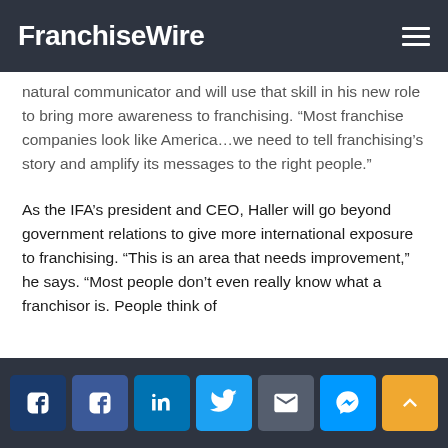FranchiseWire
natural communicator and will use that skill in his new role to bring more awareness to franchising. “Most franchise companies look like America…we need to tell franchising’s story and amplify its messages to the right people.”
As the IFA’s president and CEO, Haller will go beyond government relations to give more international exposure to franchising. “This is an area that needs improvement,” he says. “Most people don’t even really know what a franchisor is. People think of
Social share buttons: Facebook, Facebook, LinkedIn, Twitter, Email, Messenger, Scroll to top